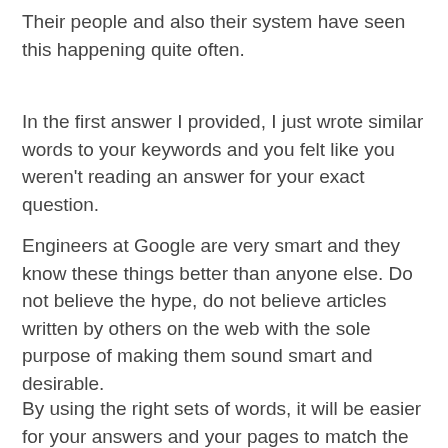Their people and also their system have seen this happening quite often.
In the first answer I provided, I just wrote similar words to your keywords and you felt like you weren't reading an answer for your exact question.
Engineers at Google are very smart and they know these things better than anyone else. Do not believe the hype, do not believe articles written by others on the web with the sole purpose of making them sound smart and desirable.
By using the right sets of words, it will be easier for your answers and your pages to match the intent of